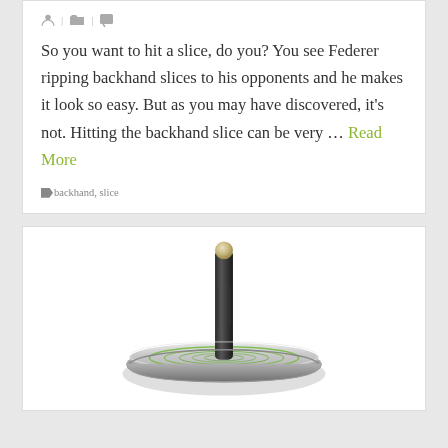So you want to hit a slice, do you? You see Federer ripping backhand slices to his opponents and he makes it look so easy. But as you may have discovered, it's not. Hitting the backhand slice can be very ... Read More
backhand, slice
[Figure (photo): A metallic spinning top toy with a green-striped flat disc base and a dark cylindrical stem with a rounded silver tip, photographed on a white background.]